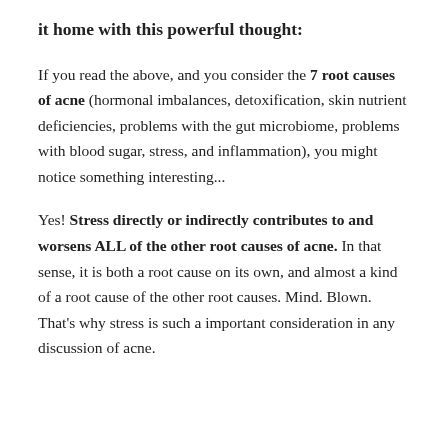it home with this powerful thought:
If you read the above, and you consider the 7 root causes of acne (hormonal imbalances, detoxification, skin nutrient deficiencies, problems with the gut microbiome, problems with blood sugar, stress, and inflammation), you might notice something interesting...
Yes! Stress directly or indirectly contributes to and worsens ALL of the other root causes of acne. In that sense, it is both a root cause on its own, and almost a kind of a root cause of the other root causes. Mind. Blown. That's why stress is such a important consideration in any discussion of acne.